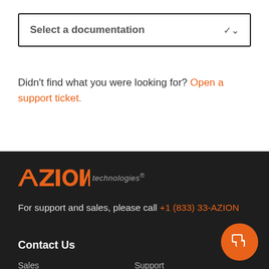Select a documentation
Didn't find what you were looking for? Open a support ticket.
[Figure (logo): Azion Technologies logo in orange with italic 'technologies®' text]
For support and sales, please call +1 (833) 33-AZION
Contact Us
Sales
Support